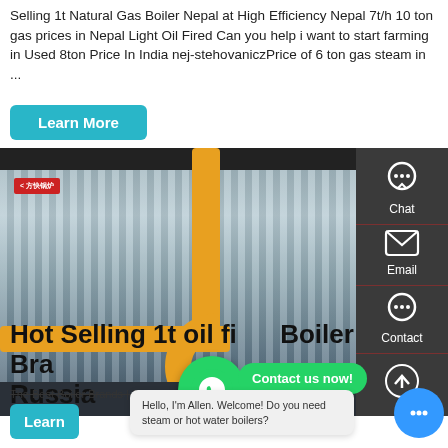Selling 1t Natural Gas Boiler Nepal at High Efficiency Nepal 7t/h 10 ton gas prices in Nepal Light Oil Fired Can you help i want to start farming in Used 8ton Price In India nej-stehovaniczPrice of 6 ton gas steam in ...
Learn More
[Figure (photo): Industrial gas boiler with yellow pipe fittings and corrugated metal casing, inside a factory]
[Figure (infographic): Right sidebar with Chat, Email, and Contact icons on dark background]
Hot Selling 1t oil fired Boiler Brands Russia
The Best Boiler Brands | 23 Brand Comparison
Learn
[Figure (infographic): WhatsApp floating button (green circle with phone icon)]
Contact us now!
Contact
Hello, I'm Allen. Welcome! Do you need steam or hot water boilers?